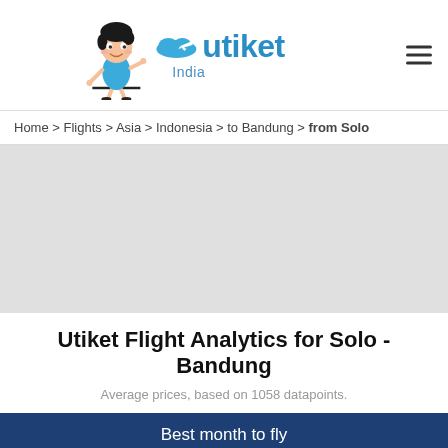[Figure (logo): Utiket India logo with mascot character (cartoon girl in blue dress) and utiket wordmark with cloud/plane graphic, India text below]
Home > Flights > Asia > Indonesia > to Bandung > from Solo
[Figure (other): Gray advertisement/content placeholder area]
Utiket Flight Analytics for Solo - Bandung
Average prices, based on 1058 datapoints.
Best month to fly
October